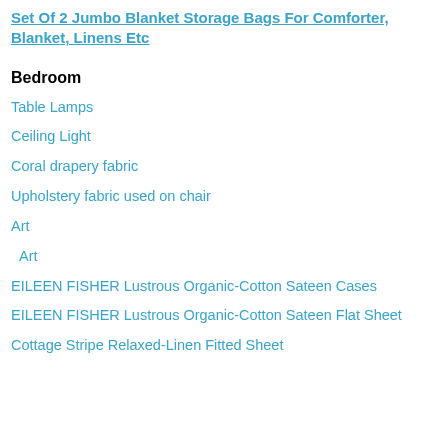Set Of 2 Jumbo Blanket Storage Bags For Comforter, Blanket, Linens Etc
Bedroom
Table Lamps
Ceiling Light
Coral drapery fabric
Upholstery fabric used on chair
Art
Art
EILEEN FISHER Lustrous Organic-Cotton Sateen Cases
EILEEN FISHER Lustrous Organic-Cotton Sateen Flat Sheet
Cottage Stripe Relaxed-Linen Fitted Sheet